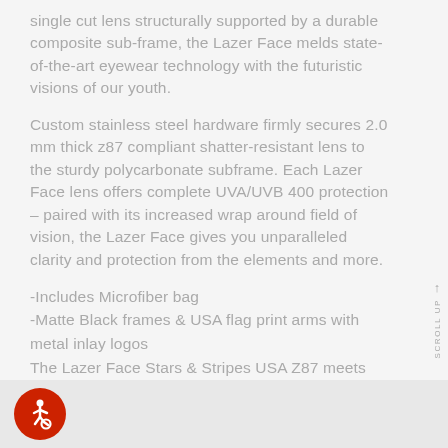single cut lens structurally supported by a durable composite sub-frame, the Lazer Face melds state-of-the-art eyewear technology with the futuristic visions of our youth.
Custom stainless steel hardware firmly secures 2.0 mm thick z87 compliant shatter-resistant lens to the sturdy polycarbonate subframe. Each Lazer Face lens offers complete UVA/UVB 400 protection – paired with its increased wrap around field of vision, the Lazer Face gives you unparalleled clarity and protection from the elements and more.
-Includes Microfiber bag
-Matte Black frames & USA flag print arms with metal inlay logos
The Lazer Face Stars & Stripes USA Z87 meets OSHA eyewear specifications for jobs not requiring side shields and chemical splash resistance.
[Figure (other): Accessibility icon - white wheelchair symbol on red circle background, in footer bar]